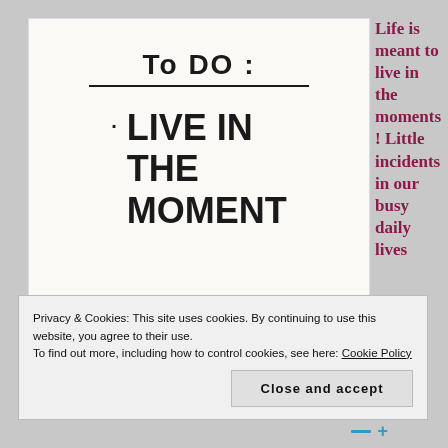[Figure (illustration): Handwritten-style note on white paper: 'To Do:' with a line underneath, then a bullet point '• LIVE IN THE MOMENT']
Life is meant to live in the moments! Little incidents in our busy daily lives
Privacy & Cookies: This site uses cookies. By continuing to use this website, you agree to their use.
To find out more, including how to control cookies, see here: Cookie Policy
Close and accept